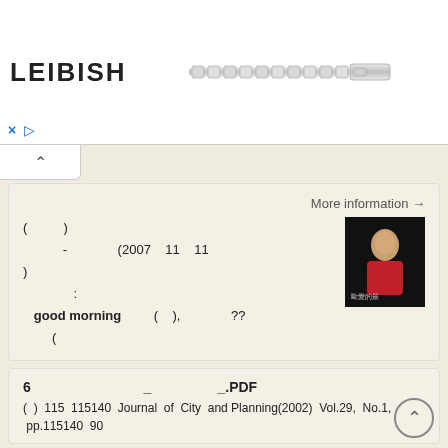[Figure (photo): LEIBISH advertisement banner with diamond bracelet image]
More information →
( )
- (2007 11 11
)
:
good morning ( ), ??
(
[Figure (photo): Thumbnail image of a woman in red dress against dark background with Chinese text]
More information →
6 _ _.PDF
( ) 115 115140 Journal of City and Planning(2002) Vol.29, No.1, pp.115140 90